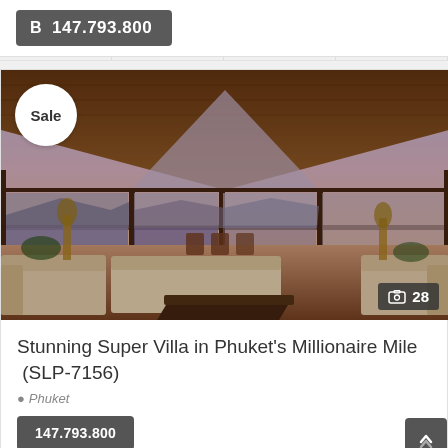B 147.793.800
[Figure (photo): Interior of a luxury villa with high vaulted wooden ceiling, floor-to-ceiling glass windows overlooking a coastal sunset view with mountains, featuring beige sofas, a dark coffee table, and outdoor terrace furniture. A 'Sale' badge is shown top-left and a photo count badge '28' is shown bottom-right.]
Stunning Super Villa in Phuket's Millionaire Mile  (SLP-7156)
Phuket
147.793.800